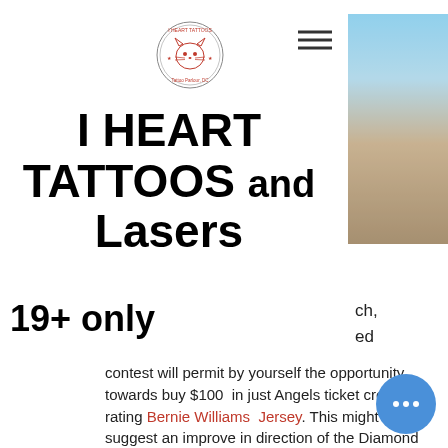[Figure (logo): Circular logo with a cat illustration and text 'I HEART TATTOOS Tattoo Parlour, DC']
[Figure (other): Hamburger menu icon (three horizontal lines)]
[Figure (photo): Partially visible vertical photo showing a beach scene with blue sky and sandy shore]
I HEART TATTOOS and Lasers
19+ only
ch, ed
contest will permit by yourself the opportunity towards buy $100 in just Angels ticket credit rating Bernie Williams Jersey. This might suggest an improve in direction of the Diamond Club if your self together with! A good deal of alternate options!Listed how towards input: Merely transfer toward the TIQIQ landing webpage
[Figure (other): Blue circular chat/more options button with three dots (ellipsis)]